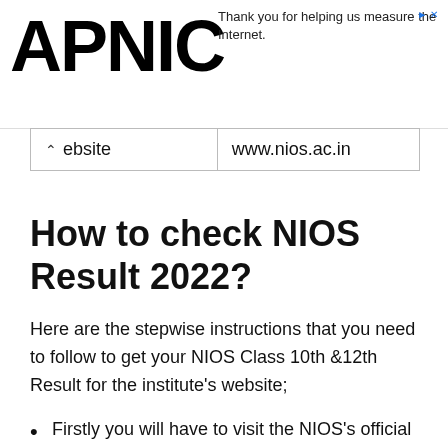APNIC — Thank you for helping us measure the Internet.
| website | www.nios.ac.in |
How to check NIOS Result 2022?
Here are the stepwise instructions that you need to follow to get your NIOS Class 10th &12th Result for the institute's website;
Firstly you will have to visit the NIOS's official website i.e., www.nios.ac.in
Click on the Examination/Result tab given on the website's home page.
A new web page will open. Here look...